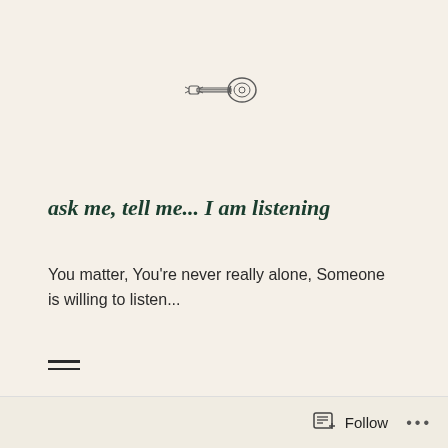[Figure (illustration): Small line-drawing illustration of a guitar/ukulele in dark outline style, centered near the top of the page]
ask me, tell me... I am listening
You matter, You're never really alone, Someone is willing to listen...
[Figure (other): Hamburger menu icon — two horizontal lines stacked]
Psychiatric, Therapeutic & Medical
Follow  •••